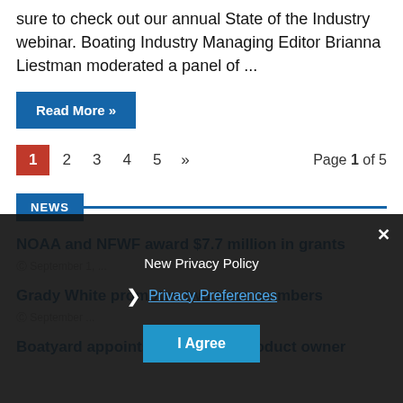sure to check out our annual State of the Industry webinar. Boating Industry Managing Editor Brianna Liestman moderated a panel of ...
Read More »
1  2  3  4  5  »  Page 1 of 5
NEWS
NOAA and NFWF award $7.7 million in grants
September 1, ...
Grady White promotes two team members
September ...
Boatyard appoints ... principal product owner
New Privacy Policy
Privacy Preferences
I Agree